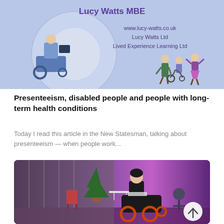[Figure (illustration): Promotional banner with light blue/lavender background. Shows a person in a power wheelchair using assistive technology on the left inside a circular frame. Text reads 'Lucy Watts MBE', 'www.lucy-watts.co.uk', 'Lucy Watts Ltd', 'Lived Experience Learning Ltd'. On the right are cartoon illustrations of people including a person in a wheelchair with two standing figures.]
Presenteeism, disabled people and people with long-term health conditions
Today I read this article in the New Statesman, talking about presenteeism — when people work...
[Figure (photo): Photo of a woman in a power wheelchair on a stage with purple lighting, a Christmas tree in the background, red chairs and white tables. A circular back-to-top arrow button is visible in the bottom right corner.]